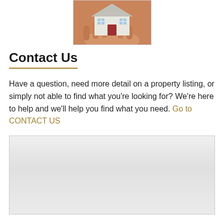[Figure (photo): Hands holding a small model house, real estate concept photo]
Contact Us
Have a question, need more detail on a property listing, or simply not able to find what you're looking for? We're here to help and we'll help you find what you need. Go to CONTACT US
[Figure (other): Gray placeholder/content box below the contact text]